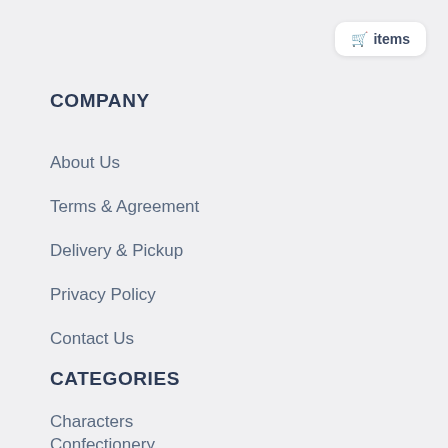🛒 items
COMPANY
About Us
Terms & Agreement
Delivery & Pickup
Privacy Policy
Contact Us
CATEGORIES
Characters
Confectionery